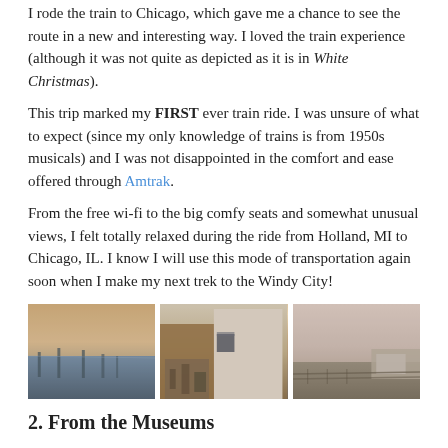I rode the train to Chicago, which gave me a chance to see the route in a new and interesting way. I loved the train experience (although it was not quite as depicted as it is in White Christmas).
This trip marked my FIRST ever train ride. I was unsure of what to expect (since my only knowledge of trains is from 1950s musicals) and I was not disappointed in the comfort and ease offered through Amtrak.
From the free wi-fi to the big comfy seats and somewhat unusual views, I felt totally relaxed during the ride from Holland, MI to Chicago, IL. I know I will use this mode of transportation again soon when I make my next trek to the Windy City!
[Figure (photo): Three vintage-toned photographs showing train route views: left image shows a marina/harbor at dusk, center image shows a rustic building/structure exterior, right image shows train tracks and industrial scenery.]
2. From the Museums